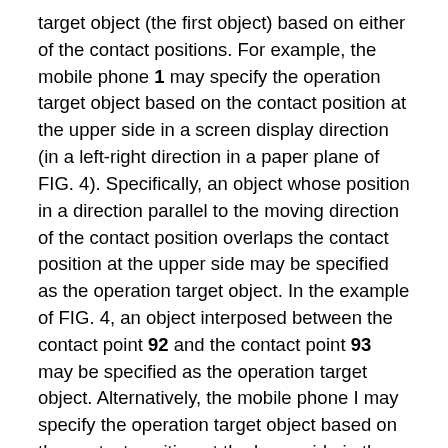target object (the first object) based on either of the contact positions. For example, the mobile phone 1 may specify the operation target object based on the contact position at the upper side in a screen display direction (in a left-right direction in a paper plane of FIG. 4). Specifically, an object whose position in a direction parallel to the moving direction of the contact position overlaps the contact position at the upper side may be specified as the operation target object. In the example of FIG. 4, an object interposed between the contact point 92 and the contact point 93 may be specified as the operation target object. Alternatively, the mobile phone I may specify the operation target object based on the contact position at the lower side in the screen display direction. Specifically, an object whose position in a direction parallel to the moving direction of the contact position overlaps the contact position at the lower side may be specified as the operation target object. In the example of FIG. 4, an object interposed between the contact point 94 and the contact point 95 may be specified as the